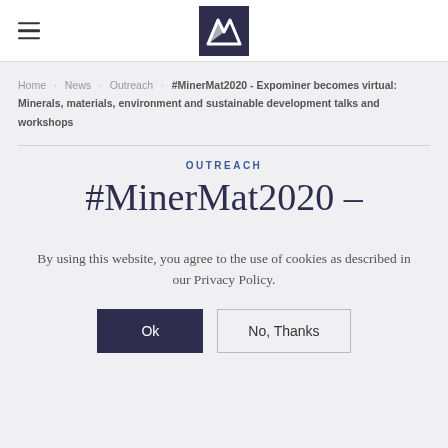Navigation header with hamburger menu and M logo
Home · News · Outreach · #MinerMat2020 - Expominer becomes virtual: Minerals, materials, environment and sustainable development talks and workshops
OUTREACH
#MinerMat2020 -
By using this website, you agree to the use of cookies as described in our Privacy Policy.
Ok   No, Thanks